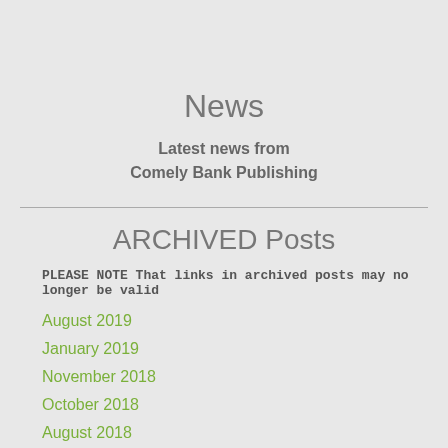News
Latest news from Comely Bank Publishing
ARCHIVED Posts
PLEASE NOTE That links in archived posts may no longer be valid
August 2019
January 2019
November 2018
October 2018
August 2018
July 2018
June 2018